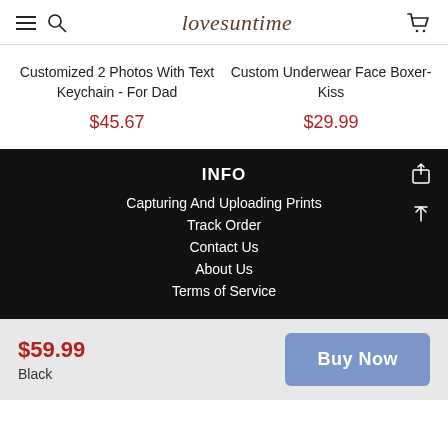lovesuntime
Customized 2 Photos With Text Keychain - For Dad
$45.67
Custom Underwear Face Boxer-Kiss
$29.99
INFO
Capturing And Uploading Prints
Track Order
Contact Us
About Us
Terms of Service
$59.99
Black
Buy Now